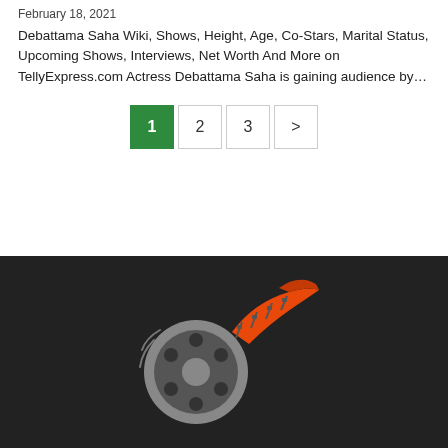February 18, 2021
Debattama Saha Wiki, Shows, Height, Age, Co-Stars, Marital Status, Upcoming Shows, Interviews, Net Worth And More on TellyExpress.com Actress Debattama Saha is gaining audience by...
Pagination: 1 (current), 2, 3, >
[Figure (logo): Film reel logo with orange and grey colors on dark background]